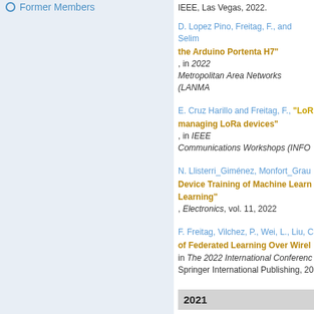Former Members
IEEE, Las Vegas, 2022.
D. Lopez Pino, Freitag, F., and Selim... "...the Arduino Portenta H7", in 2022 Metropolitan Area Networks (LANMA...
E. Cruz Harillo and Freitag, F., "LoR... managing LoRa devices", in IEEE Communications Workshops (INFO...
N. Llisterri_Giménez, Monfort_Grau... Device Training of Machine Learn... Learning", Electronics, vol. 11, 2022...
F. Freitag, Vilchez, P., Wei, L., Liu, C... of Federated Learning Over Wirel... in The 2022 International Conferenc... Springer International Publishing, 20...
2021
L. Ibraimi, Selimi, M., and Freitag, F... Performance in Resource-Constra... Communications Conference (GLOB...